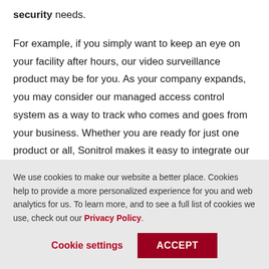security needs.
For example, if you simply want to keep an eye on your facility after hours, our video surveillance product may be for you. As your company expands, you may consider our managed access control system as a way to track who comes and goes from your business. Whether you are ready for just one product or all, Sonitrol makes it easy to integrate our products as you expand.
We use cookies to make our website a better place. Cookies help to provide a more personalized experience for you and web analytics for us. To learn more, and to see a full list of cookies we use, check out our Privacy Policy.
Cookie settings
ACCEPT